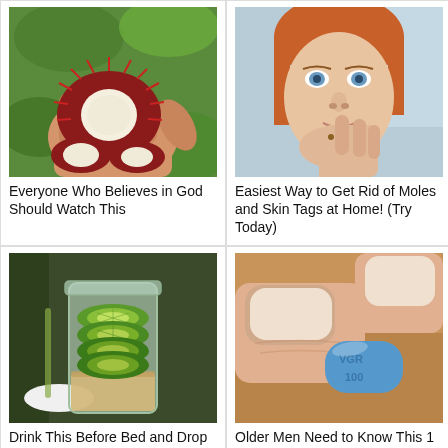[Figure (photo): Hand holding open rambutan fruit showing white flesh inside, with green foliage background]
Everyone Who Believes in God Should Watch This
[Figure (photo): Close-up of young woman with red hair touching a mole or blemish on her chin]
Easiest Way to Get Rid of Moles and Skin Tags at Home! (Try Today)
[Figure (photo): Glass mason jar filled with sliced cucumber/lime rounds and grain at the bottom]
Drink This Before Bed and Drop Body Weight Like Crazy
[Figure (photo): Fingers holding a small blue diamond-shaped pill]
Older Men Need to Know This 1 Weird Tip Before It's Too Late